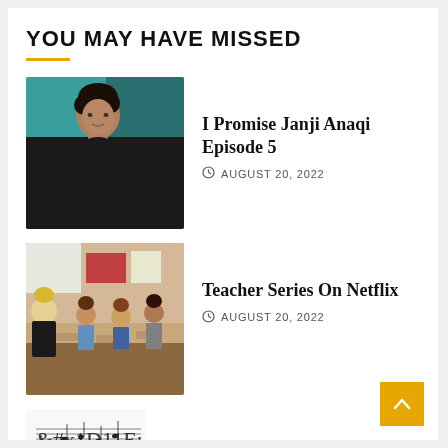YOU MAY HAVE MISSED
[Figure (photo): Young man with curly hair looking back over his shoulder, teal wall behind him, wearing dark jacket]
I Promise Janji Anaqi Episode 5
AUGUST 20, 2022
[Figure (photo): Classroom scene with a blonde woman teacher and students seated at desks]
Teacher Series On Netflix
AUGUST 20, 2022
[Figure (other): Sheet music / guitar tablature snippet at bottom of page]